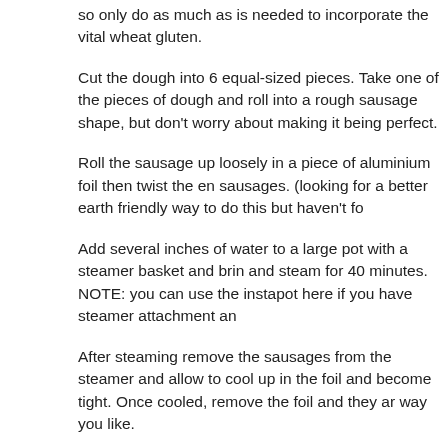so only do as much as is needed to incorporate the vital wheat gluten.
Cut the dough into 6 equal-sized pieces. Take one of the pieces of dough and roll into a rough sausage shape, but don’t worry about making it being perfect.
Roll the sausage up loosely in a piece of aluminium foil then twist the ends to seal the sausages. (looking for a better earth friendly way to do this but haven’t fo
Add several inches of water to a large pot with a steamer basket and bring to a boil. Place and steam for 40 minutes.
NOTE: you can use the instapot here if you have steamer attachment an
After steaming remove the sausages from the steamer and allow to cool slightly, they will firm up in the foil and become tight. Once cooled, remove the foil and they are ready to cook any way you like.
You can freeze to use for later, or store in the fridge if you plant to use th
at April 19, 2021   No comments:
Labels: gluten free, healthy, healthy vegan, italian sausage, Seitan, Vega
Extra Crispy Vegan Fried Chicken - easy